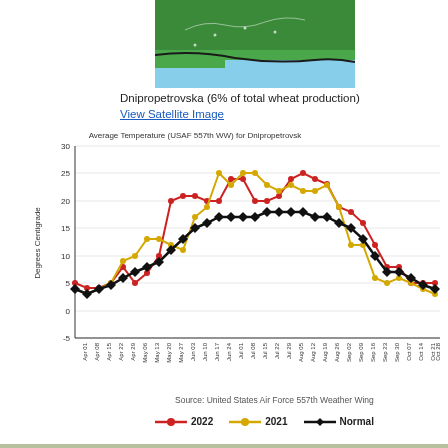[Figure (map): Satellite/map image of Dnipropetrovska region in Ukraine showing green terrain, coastline, and geographic features]
Dnipropetrovska (6% of total wheat production)
View Satellite Image
[Figure (line-chart): Average Temperature (USAF 557th WW) for Dnipropetrovsk]
Source: United States Air Force 557th Weather Wing